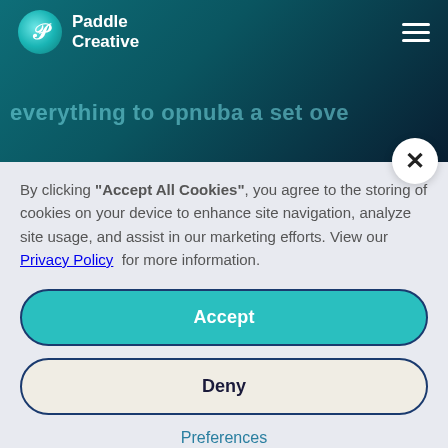[Figure (screenshot): Paddle Creative website header with teal/dark gradient background, logo with circular icon and 'Paddle Creative' text, hamburger menu icon, and faded teal heading text partially visible]
By clicking “Accept All Cookies”, you agree to the storing of cookies on your device to enhance site navigation, analyze site usage, and assist in our marketing efforts. View our Privacy Policy for more information.
Accept
Deny
Preferences